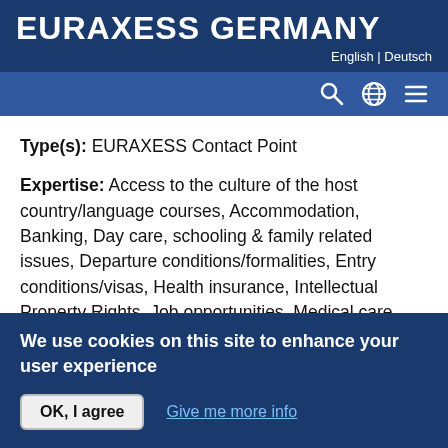EURAXESS GERMANY
English | Deutsch
Type(s): EURAXESS Contact Point
Expertise: Access to the culture of the host country/language courses, Accommodation, Banking, Day care, schooling & family related issues, Departure conditions/formalities, Entry conditions/visas, Health insurance, Intellectual Property Rights, Job opportunities, Medical care, Pension rights, Recognition of diplomas,
We use cookies on this site to enhance your user experience
OK, I agree
Give me more info